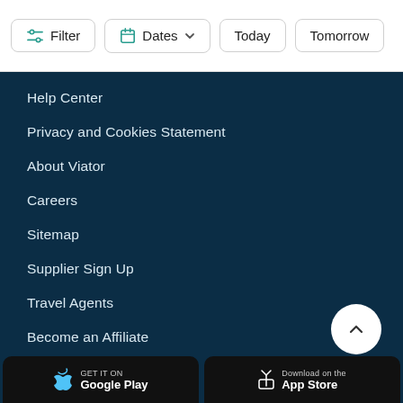Filter   Dates   Today   Tomorrow
Help Center
Privacy and Cookies Statement
About Viator
Careers
Sitemap
Supplier Sign Up
Travel Agents
Become an Affiliate
News
Viator blog
GET IT ON   Download on the